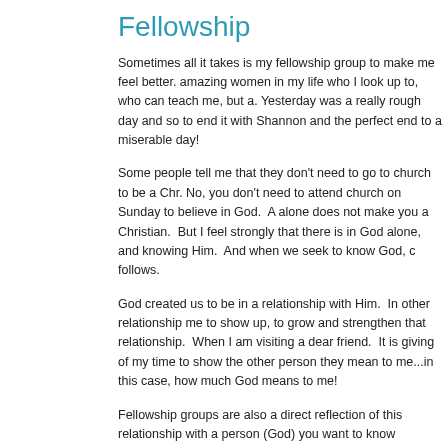Fellowship
Sometimes all it takes is my fellowship group to make me feel better. amazing women in my life who I look up to, who can teach me, but a. Yesterday was a really rough day and so to end it with Shannon and the perfect end to a miserable day!
Some people tell me that they don't need to go to church to be a Chr. No, you don't need to attend church on Sunday to believe in God. A alone does not make you a Christian. But I feel strongly that there is in God alone, and knowing Him. And when we seek to know God, c follows.
God created us to be in a relationship with Him. In other relationship me to show up, to grow and strengthen that relationship. When I am visiting a dear friend. It is giving of my time to show the other person they mean to me...in this case, how much God means to me!
Fellowship groups are also a direct reflection of this relationship with a person (God) you want to know everything about that person. Wh Well God wants us to know everything about Him, including getting t go to church on Sunday to see God, but to see His people too. To s praise together. Tuesday night fellowship group is the same for me. opportunity to share with others who are like-minded, who love Jesu